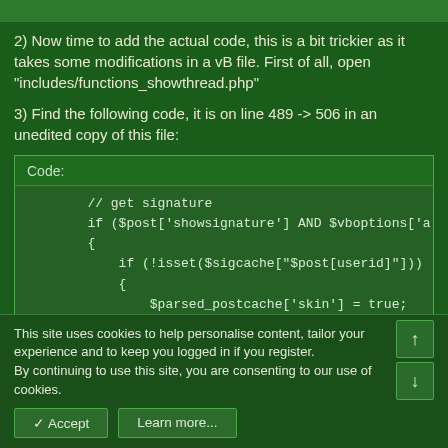2) Now time to add the actual code, this is a bit trickier as it takes some modifications in a vB file. First of all, open "includes/functions_showthread.php"
3) Find the following code, it is on line 489 -> 506 in an unedited copy of this file:
[Figure (screenshot): Code block showing PHP code with 'Code:' label. Contains: // get signature, if ($post['showsignature'] AND $vboptions['a'], {, if (!isset($sigcache["$post[userid]"])), {, $parsed_postcache['skin'] = true;]
This site uses cookies to help personalise content, tailor your experience and to keep you logged in if you register.
By continuing to use this site, you are consenting to our use of cookies.
✓ Accept    Learn more...